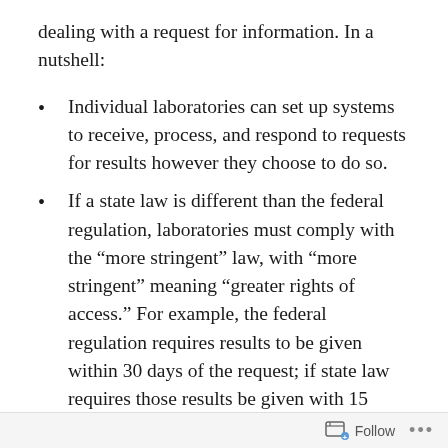dealing with a request for information. In a nutshell:
Individual laboratories can set up systems to receive, process, and respond to requests for results however they choose to do so.
If a state law is different than the federal regulation, laboratories must comply with the “more stringent” law, with “more stringent” meaning “greater rights of access.” For example, the federal regulation requires results to be given within 30 days of the request; if state law requires those results be given with 15 days, then the laboratory should follow the state law.
Follow •••